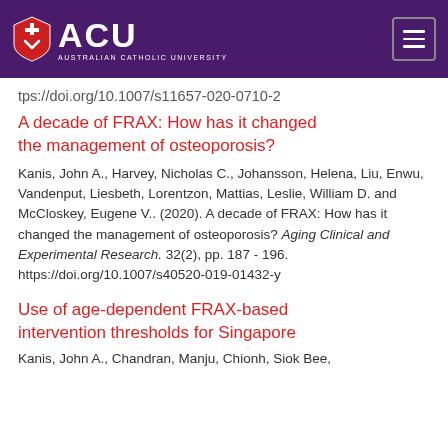ACU - Australian Catholic University
tps://doi.org/10.1007/s11657-020-0710-2
A decade of FRAX: How has it changed the management of osteoporosis?
Kanis, John A., Harvey, Nicholas C., Johansson, Helena, Liu, Enwu, Vandenput, Liesbeth, Lorentzon, Mattias, Leslie, William D. and McCloskey, Eugene V.. (2020). A decade of FRAX: How has it changed the management of osteoporosis? Aging Clinical and Experimental Research. 32(2), pp. 187 - 196. https://doi.org/10.1007/s40520-019-01432-y
Use of age-dependent FRAX-based intervention thresholds for Singapore
Kanis, John A., Chandran, Manju, Chionh, Siok Bee,